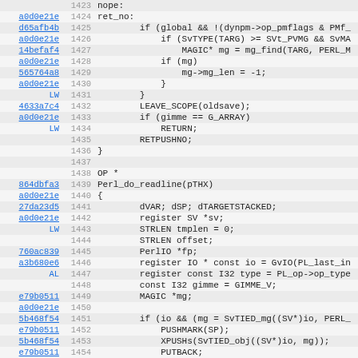[Figure (screenshot): Source code viewer showing C/Perl source code lines 1423-1454 with line numbers, commit hashes as hyperlinks, and syntax-highlighted code. The code shows Perl internal functions including ret_no label, SvTYPE checks, MAGIC operations, LEAVE_SCOPE, Perl_do_readline function definition and its local variable declarations.]